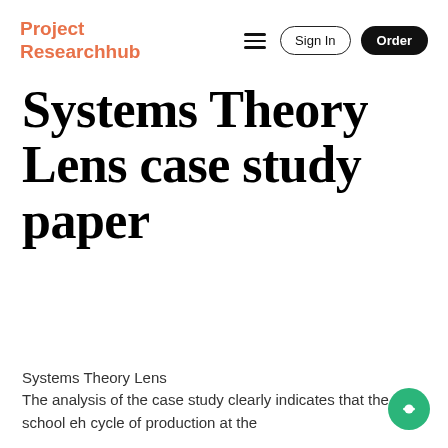Project Researchhub | Sign In | Order
Systems Theory Lens case study paper
Systems Theory Lens
The analysis of the case study clearly indicates that the school eh cycle of production at the